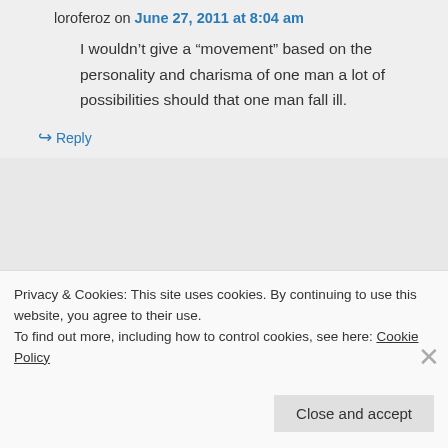loroferoz on June 27, 2011 at 8:04 am
I wouldn't give a “movement” based on the personality and charisma of one man a lot of possibilities should that one man fall ill.
↵ Reply
albionoldboy on June 27, 2011 at 3:37 pm
Privacy & Cookies: This site uses cookies. By continuing to use this website, you agree to their use.
To find out more, including how to control cookies, see here: Cookie Policy